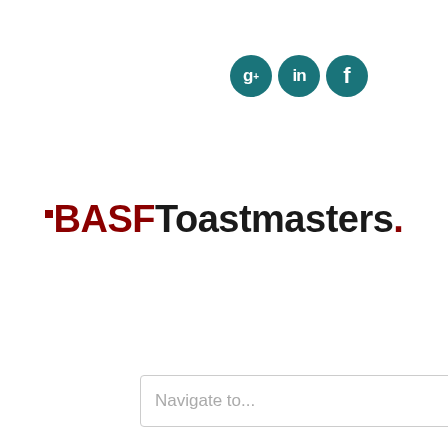[Figure (logo): Social media icons: Google+, LinkedIn, Facebook as teal circles]
BASF Toastmasters
[Figure (screenshot): Navigation dropdown reading 'Navigate to...']
skyep, team, team building, Toastmasters, Toastmasters in Mannheim, Zoom